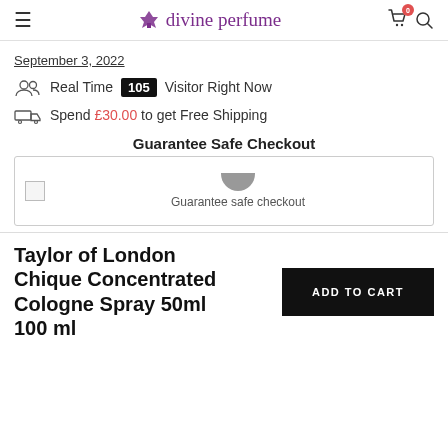divine perfume
September 3, 2022
Real Time 105 Visitor Right Now
Spend £30.00 to get Free Shipping
Guarantee Safe Checkout
[Figure (illustration): Guarantee safe checkout badge with shield icon and payment logos]
Taylor of London Chique Concentrated Cologne Spray 50ml 100 ml
ADD TO CART